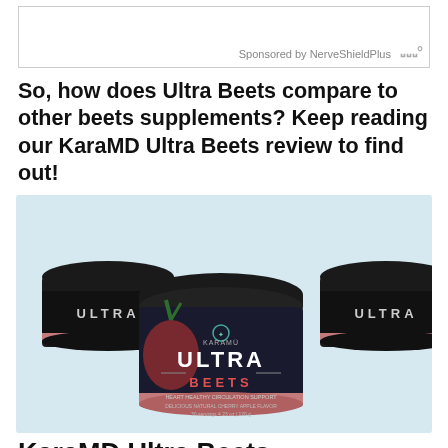[Figure (other): Advertisement banner sponsored by NerveShieldPlus]
So, how does Ultra Beets compare to other beets supplements? Keep reading our KaraMD Ultra Beets review to find out!
[Figure (photo): Three jars of KaraMD Ultra Beets supplement product with dark green/black label and pink band, on a light blue background]
KaraMD Ultra Beets